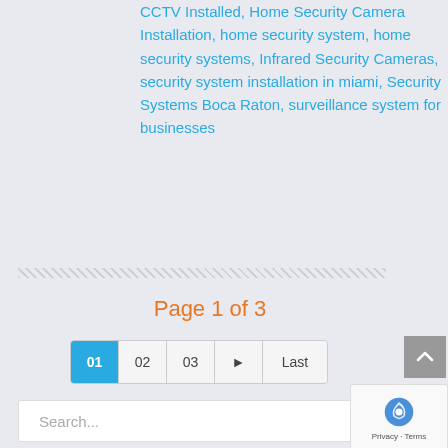CCTV Installed, Home Security Camera Installation, home security system, home security systems, Infrared Security Cameras, security system installation in miami, Security Systems Boca Raton, surveillance system for businesses
Page 1 of 3
01 02 03 ▶ Last
Search...